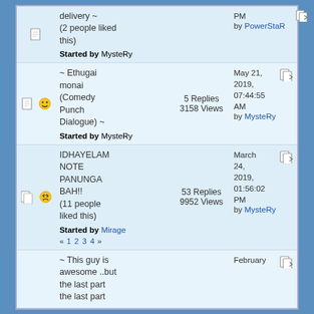| Icons | Subject | Replies/Views | Last Post |
| --- | --- | --- | --- |
| [icons] | delivery ~ (2 people liked this)
Started by MysteRy |  | PM
by PowerStaR |
| [icons] | ~ Ethugai monai (Comedy Punch Dialogue) ~
Started by MysteRy | 5 Replies
3158 Views | May 21, 2019, 07:44:55 AM
by MysteRy |
| [icons] | IDHAYELAM NOTE PANUNGA BAH!! (11 people liked this)
Started by Mirage
« 1 2 3 4 » | 53 Replies
9952 Views | March 24, 2019, 01:56:02 PM
by MysteRy |
| [icons] | ~ This guy is awesome ..but the last part the last part |  | February |